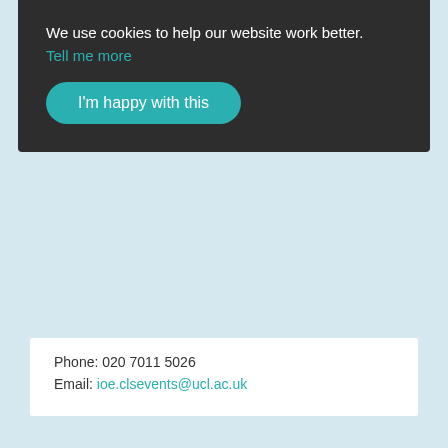We use cookies to help our website work better.
Tell me more
I'm happy with this
Phone: 020 7011 5026
Email: ioe.clsevents@ucl.ac.uk
[Figure (logo): Twitter bird icon in a circle]
Twitter
Great to see our cohorts in the Royal Foundation's case study on the value of longitudinal research for understandi…
https://t.co/L9PihrlkQK